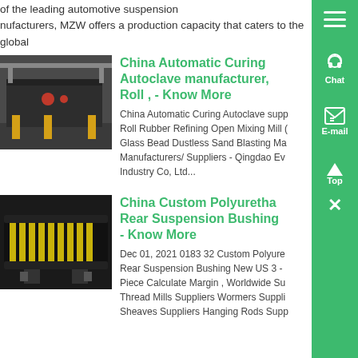of the leading automotive suspension manufacturers, MZW offers a production capacity that caters to the global
[Figure (photo): Industrial autoclave or large industrial machine in a warehouse setting with yellow support structures]
China Automatic Curing Autoclave manufacturer, Roll , - Know More
China Automatic Curing Autoclave suppliers, Roll Rubber Refining Open Mixing Mill Glass Bead Dustless Sand Blasting Manufacturers/ Suppliers - Qingdao Ev Industry Co, Ltd...
[Figure (photo): Custom polyurethane rear suspension bushing product - black casing with yellow interior, cross-section view]
China Custom Polyurethane Rear Suspension Bushing - Know More
Dec 01, 2021 0183 32 Custom Polyurethane Rear Suspension Bushing New US 3 - Piece Calculate Margin , Worldwide Suppliers Thread Mills Suppliers Wormers Suppliers Sheaves Suppliers Hanging Rods Suppliers